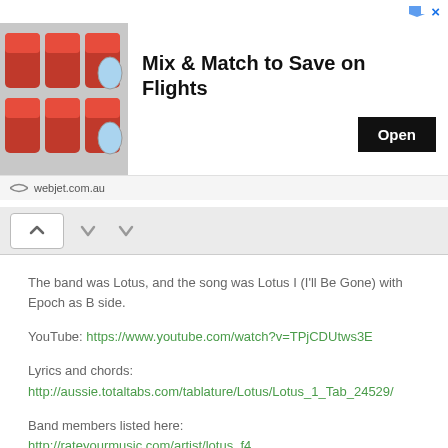[Figure (screenshot): Advertisement banner for webjet.com.au showing airplane seats with red headrests, headline 'Mix & Match to Save on Flights', and an Open button]
The band was Lotus, and the song was Lotus I (I'll Be Gone) with Epoch as B side.
YouTube: https://www.youtube.com/watch?v=TPjCDUtws3E
Lyrics and chords: http://aussie.totaltabs.com/tablature/Lotus/Lotus_1_Tab_24529/
Band members listed here: http://rateyourmusic.com/artist/lotus_f4